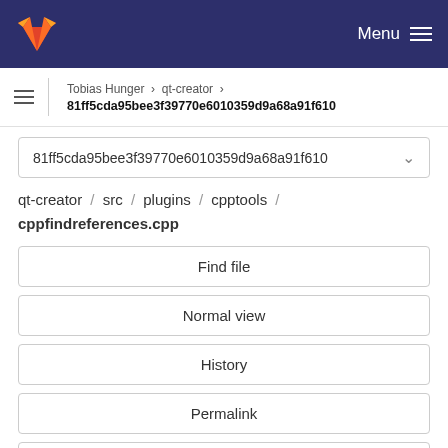GitLab navigation bar with Menu
Tobias Hunger > qt-creator > 81ff5cda95bee3f39770e6010359d9a68a91f610
81ff5cda95bee3f39770e6010359d9a68a91f610
qt-creator / src / plugins / cpptools / cppfindreferences.cpp
Find file
Normal view
History
Permalink
cppfindreferences.cpp  15.1 KB
Newer  Older